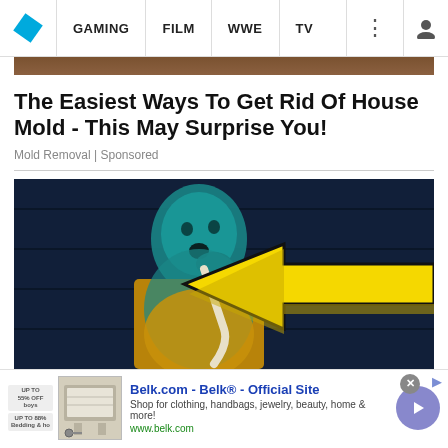GAMING | FILM | WWE | TV
The Easiest Ways To Get Rid Of House Mold - This May Surprise You!
Mold Removal | Sponsored
[Figure (photo): Woman looking surprised with a large yellow arrow pointing at her, blue-tinted image]
Belk.com - Belk® - Official Site
Shop for clothing, handbags, jewelry, beauty, home & more!
www.belk.com